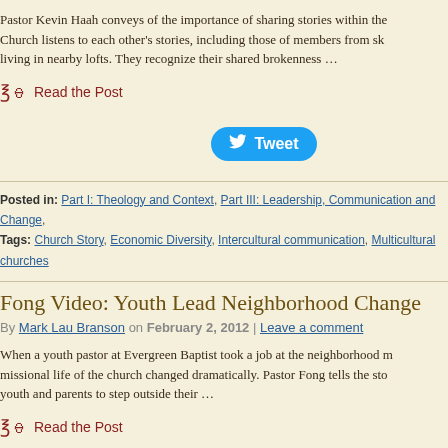Pastor Kevin Haah conveys of the importance of sharing stories within the Church listens to each other's stories, including those of members from sk living in nearby lofts. They recognize their shared brokenness …
Read the Post
[Figure (other): Tweet button with Twitter bird icon]
Posted in: Part I: Theology and Context, Part III: Leadership, Communication and Change,
Tags: Church Story, Economic Diversity, Intercultural communication, Multicultural churches
Fong Video: Youth Lead Neighborhood Change
By Mark Lau Branson on February 2, 2012 | Leave a comment
When a youth pastor at Evergreen Baptist took a job at the neighborhood m missional life of the church changed dramatically. Pastor Fong tells the sto youth and parents to step outside their …
Read the Post
[Figure (other): Tweet button (partially visible at bottom)]